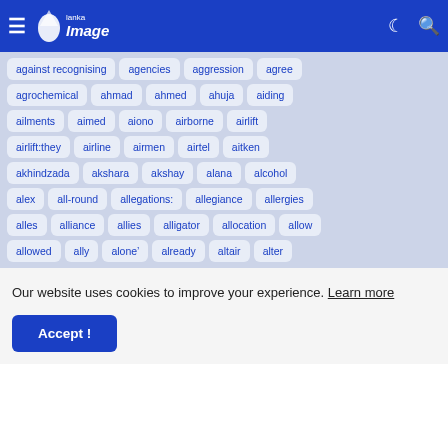Lanka Image — navigation header with menu icon, logo, moon icon, search icon
[Figure (other): Tag cloud with clickable keyword tags on blue-grey background: against recognising, agencies, aggression, agree, agrochemical, ahmad, ahmed, ahuja, aiding, ailments, aimed, aiono, airborne, airlift, airlift:they, airline, airmen, airtel, aitken, akhindzada, akshara, akshay, alana, alcohol, alex, all-round, allegations:, allegiance, allergies, alles, alliance, allies, alligator, allocation, allow, allowed, ally, alone&#8217;, already, altair, alter]
Our website uses cookies to improve your experience. Learn more
Accept !